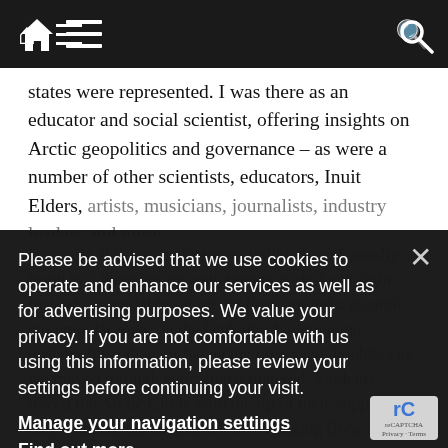Navigation bar with home icon, menu icon, and search icon
states were represented. I was there as an educator and social scientist, offering insights on Arctic geopolitics and governance – as were a number of other scientists, educators, Inuit Elders, artists, musicians, journalists, industry leaders and more.
However, this was a classroom unlike those I usually teach in – there are no whiteboards or desks in sight. Instead, we variably sat on the floor around a gigantic circumpolar map; on the land after having gone onshore by zodiac; or balancing on ancient boulders as we moved through educational material. Students traced the Arctic Circle with the tip of their slippers; they smelled, tasted, and felt the changing flora; thi
Please be advised that we use cookies to operate and enhance our services as well as for advertising purposes. We value your privacy. If you are not comfortable with us using this information, please review your settings before continuing your visit.
Manage your navigation settings
Find out more